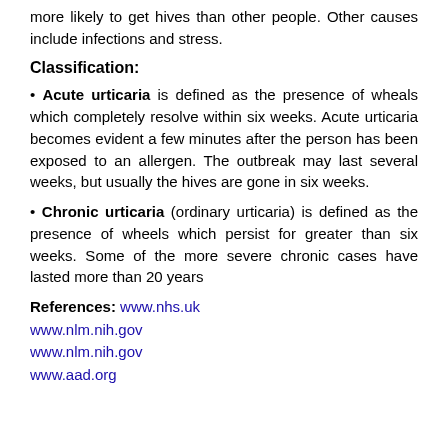more likely to get hives than other people. Other causes include infections and stress.
Classification:
• Acute urticaria is defined as the presence of wheals which completely resolve within six weeks. Acute urticaria becomes evident a few minutes after the person has been exposed to an allergen. The outbreak may last several weeks, but usually the hives are gone in six weeks.
• Chronic urticaria (ordinary urticaria) is defined as the presence of wheels which persist for greater than six weeks. Some of the more severe chronic cases have lasted more than 20 years
References: www.nhs.uk
www.nlm.nih.gov
www.nlm.nih.gov
www.aad.org